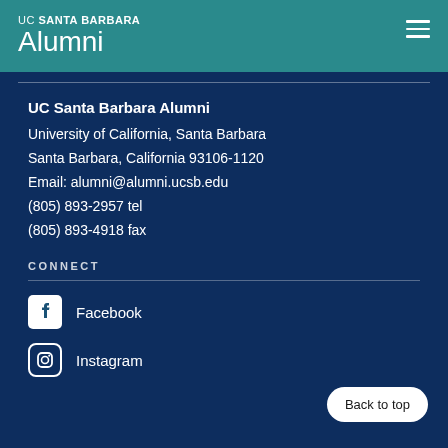UC SANTA BARBARA Alumni
UC Santa Barbara Alumni
University of California, Santa Barbara
Santa Barbara, California 93106-1120
Email: alumni@alumni.ucsb.edu
(805) 893-2957 tel
(805) 893-4918 fax
CONNECT
Facebook
Instagram